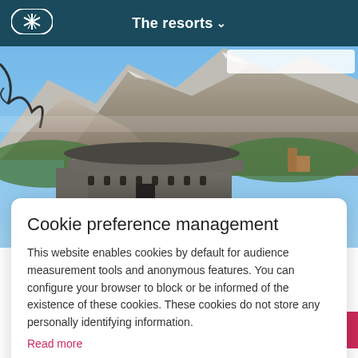The resorts
[Figure (photo): Mountain landscape with a historic stone fortress/fort building in the foreground, snow-capped peaks and blue sky in the background, green forested hillsides]
Cookie preference management
This website enables cookies by default for audience measurement tools and anonymous features. You can configure your browser to block or be informed of the existence of these cookies. These cookies do not store any personally identifying information.
Read more
I choose
Ok for me